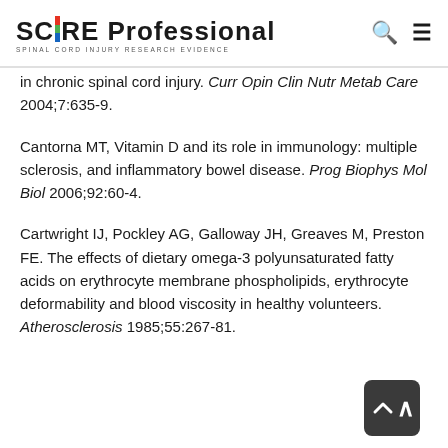SCIRE Professional — SPINAL CORD INJURY RESEARCH EVIDENCE
in chronic spinal cord injury. Curr Opin Clin Nutr Metab Care 2004;7:635-9.
Cantorna MT, Vitamin D and its role in immunology: multiple sclerosis, and inflammatory bowel disease. Prog Biophys Mol Biol 2006;92:60-4.
Cartwright IJ, Pockley AG, Galloway JH, Greaves M, Preston FE. The effects of dietary omega-3 polyunsaturated fatty acids on erythrocyte membrane phospholipids, erythrocyte deformability and blood viscosity in healthy volunteers. Atherosclerosis 1985;55:267-81.